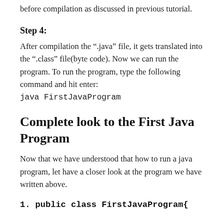before compilation as discussed in previous tutorial.
Step 4:
After compilation the ".java" file, it gets translated into the ".class" file(byte code). Now we can run the program. To run the program, type the following command and hit enter:
java FirstJavaProgram
Complete look to the First Java Program
Now that we have understood that how to run a java program, let have a closer look at the program we have written above.
1. public class FirstJavaProgram{